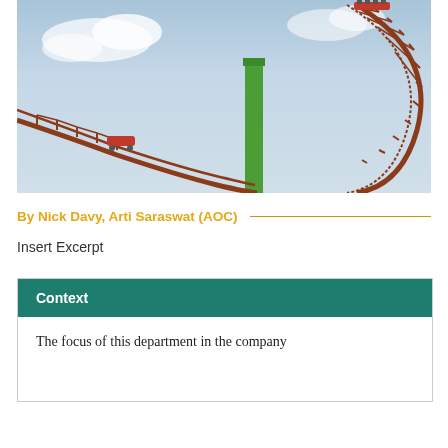[Figure (photo): Photo of a roller coaster with red/brown lattice tracks making a loop, a green vertical support column in the center, and riders at the top of the loop against a light blue sky with clouds.]
By Nick Davy, Arti Saraswat (AOC)
Insert Excerpt
Context
The focus of this department in the company